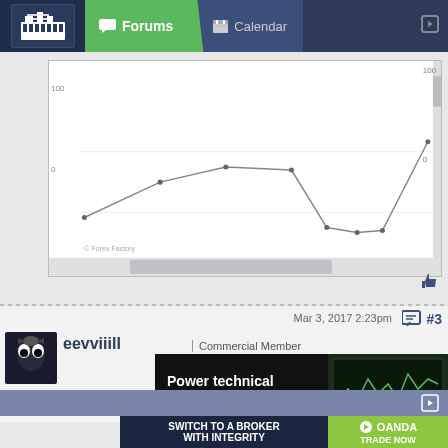[Figure (screenshot): Website navigation bar with Forums and Calendar tabs, factory/industry logo icon]
[Figure (line-chart): Line chart showing price or value data over time with multiple data points, from Forex Factory website]
Mar 3, 2017 2:23pm
#3
[Figure (photo): User avatar showing a cartoon/animated character with dark coloring]
eevviiill | Commercial Member
Monitoring of real account will start on Monday.
[Figure (screenshot): OANDA advertisement banner: Power technical analysis with OANDA, showing trading platform screenshot]
[Figure (screenshot): OANDA bottom advertisement: SWITCH TO A BROKER WITH INTEGRITY, OANDA TRADE NOW]